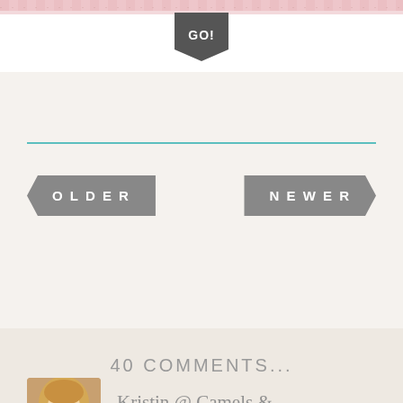[Figure (other): Decorative pink patterned top bar with a dark teal 'GO!' bookmark badge hanging below]
[Figure (other): Teal horizontal divider line]
OLDER
NEWER
40 COMMENTS...
[Figure (photo): Avatar photo of a blonde woman smiling]
Kristin @ Camels & Chocolate
October 25 2017
Oooh I love when you recap our time together! =)
And one of my clients just texted me last night, “you never slow down, do you?” (funny enough, it